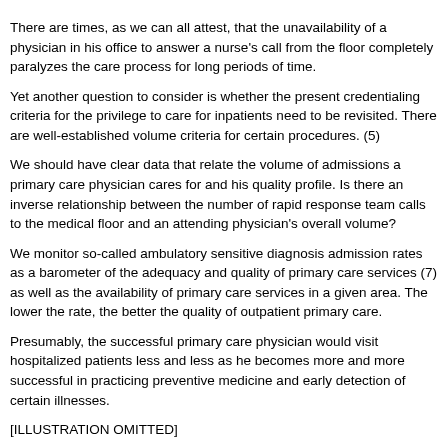There are times, as we can all attest, that the unavailability of a physician in his office to answer a nurse's call from the floor completely paralyzes the care process for long periods of time.
Yet another question to consider is whether the present credentialing criteria for the privilege to care for inpatients need to be revisited. There are well-established volume criteria for certain procedures. (5)
We should have clear data that relate the volume of admissions a primary care physician cares for and his quality profile. Is there an inverse relationship between the number of rapid response team calls to the medical floor and an attending physician's overall volume?
We monitor so-called ambulatory sensitive diagnosis admission rates as a barometer of the adequacy and quality of primary care services (7) as well as the availability of primary care services in a given area. The lower the rate, the better the quality of outpatient primary care.
Presumably, the successful primary care physician would visit hospitalized patients less and less as he becomes more and more successful in practicing preventive medicine and early detection of certain illnesses.
[ILLUSTRATION OMITTED]
Should a primary care physician with one admission in the last quarter be